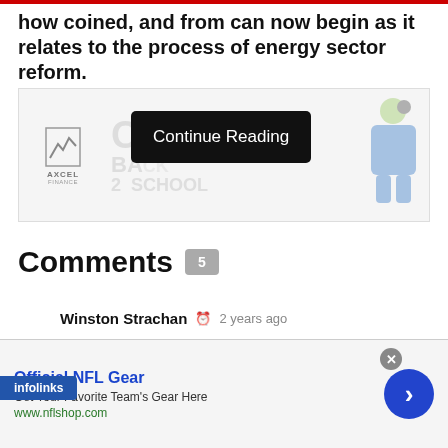how coined, and from can now begin as it relates to the process of energy sector reform.
[Figure (screenshot): Advertisement banner showing AXCEL Finance logo and 'CASHBACK 2 SCHOOL' text with a student character, overlaid with a 'Continue Reading' button]
Comments 5
Winston Strachan  2 years ago
Well done David J for putting things into prospective. The doom and gloom some people write about Grenada lacks patriotism. Very inward and selfish
[Figure (screenshot): Infolinks ad bar and NFL Gear advertisement showing 'Official NFL Gear - Get Your Favorite Team's Gear Here - www.nflshop.com' with a blue arrow button]